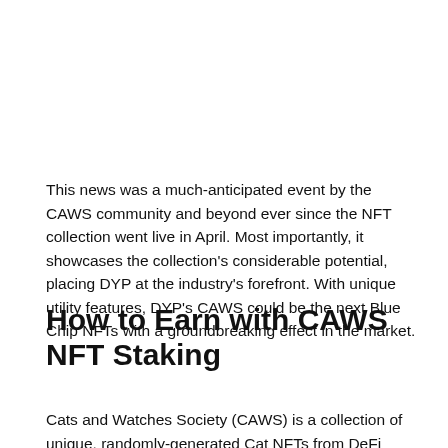This news was a much-anticipated event by the CAWS community and beyond ever since the NFT collection went live in April. Most importantly, it showcases the collection's considerable potential, placing DYP at the industry's forefront. With unique utility features, DYP's CAWS could be the next Blue Chip NFTs with a groundbreaking effect in the market.
How to Earn with CAWS NFT Staking
Cats and Watches Society (CAWS) is a collection of unique, randomly-generated Cat NFTs from DeFi Yield Protocol (DYP). The